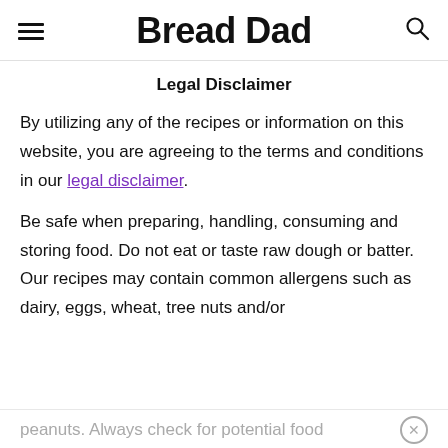Bread Dad
Legal Disclaimer
By utilizing any of the recipes or information on this website, you are agreeing to the terms and conditions in our legal disclaimer.
Be safe when preparing, handling, consuming and storing food. Do not eat or taste raw dough or batter. Our recipes may contain common allergens such as dairy, eggs, wheat, tree nuts and/or peanuts. Always check for potential food